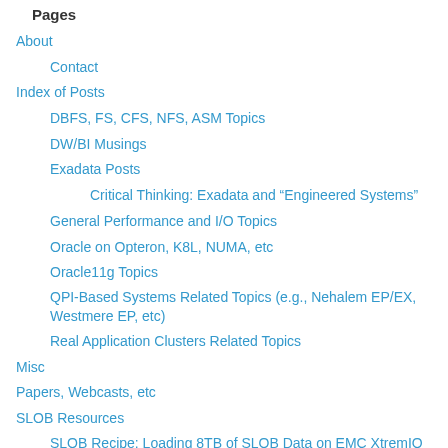Pages
About
Contact
Index of Posts
DBFS, FS, CFS, NFS, ASM Topics
DW/BI Musings
Exadata Posts
Critical Thinking: Exadata and “Engineered Systems”
General Performance and I/O Topics
Oracle on Opteron, K8L, NUMA, etc
Oracle11g Topics
QPI-Based Systems Related Topics (e.g., Nehalem EP/EX, Westmere EP, etc)
Real Application Clusters Related Topics
Misc
Papers, Webcasts, etc
SLOB Resources
SLOB Recipe: Loading 8TB of SLOB Data on EMC XtremIO with a Single 2-Socket Linux Host
Little Things Doth Crabby Make